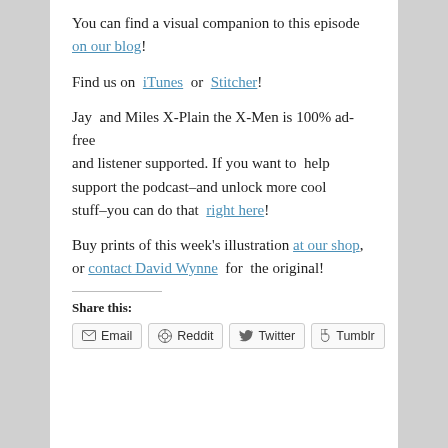You can find a visual companion to this episode on our blog!
Find us on iTunes or Stitcher!
Jay and Miles X-Plain the X-Men is 100% ad-free and listener supported. If you want to help support the podcast–and unlock more cool stuff–you can do that right here!
Buy prints of this week's illustration at our shop, or contact David Wynne for the original!
Share this:
Email  Reddit  Twitter  Tumblr